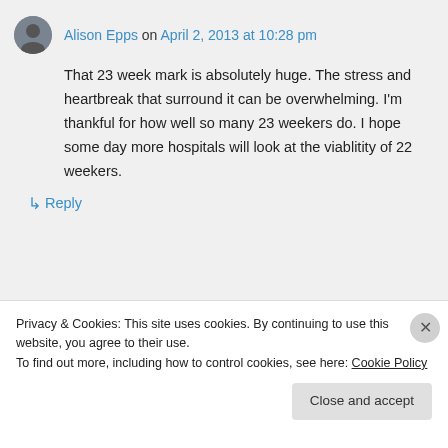Alison Epps on April 2, 2013 at 10:28 pm
That 23 week mark is absolutely huge. The stress and heartbreak that surround it can be overwhelming. I'm thankful for how well so many 23 weekers do. I hope some day more hospitals will look at the viablitity of 22 weekers.
↳ Reply
Privacy & Cookies: This site uses cookies. By continuing to use this website, you agree to their use.
To find out more, including how to control cookies, see here: Cookie Policy
Close and accept